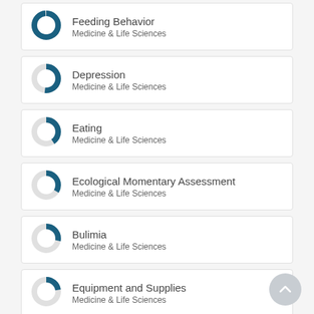[Figure (donut-chart): Donut chart nearly fully filled (high percentage) for Feeding Behavior, Medicine & Life Sciences]
Feeding Behavior
Medicine & Life Sciences
[Figure (donut-chart): Donut chart ~50% filled for Depression, Medicine & Life Sciences]
Depression
Medicine & Life Sciences
[Figure (donut-chart): Donut chart ~40% filled for Eating, Medicine & Life Sciences]
Eating
Medicine & Life Sciences
[Figure (donut-chart): Donut chart ~35% filled for Ecological Momentary Assessment, Medicine & Life Sciences]
Ecological Momentary Assessment
Medicine & Life Sciences
[Figure (donut-chart): Donut chart ~30% filled for Bulimia, Medicine & Life Sciences]
Bulimia
Medicine & Life Sciences
[Figure (donut-chart): Donut chart ~25% filled for Equipment and Supplies, Medicine & Life Sciences]
Equipment and Supplies
Medicine & Life Sciences
[Figure (donut-chart): Donut chart ~20% filled for Obesity, Medicine & Life Sciences]
Obesity
Medicine & Life Sciences